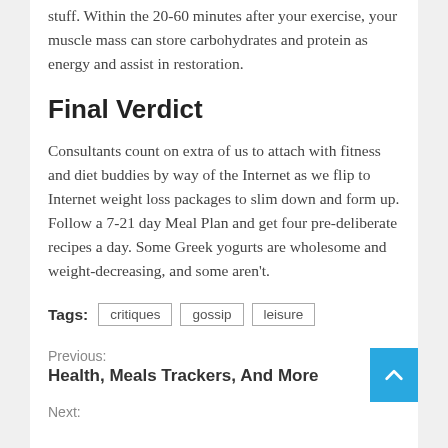stuff. Within the 20-60 minutes after your exercise, your muscle mass can store carbohydrates and protein as energy and assist in restoration.
Final Verdict
Consultants count on extra of us to attach with fitness and diet buddies by way of the Internet as we flip to Internet weight loss packages to slim down and form up. Follow a 7-21 day Meal Plan and get four pre-deliberate recipes a day. Some Greek yogurts are wholesome and weight-decreasing, and some aren't.
Tags: critiques  gossip  leisure
Previous:
Health, Meals Trackers, And More
Next: